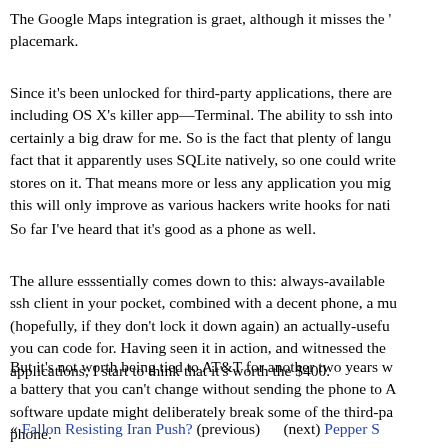The Google Maps integration is graet, although it misses the ' placemark.
Since it's been unlocked for third-party applications, there are including OS X's killer app—Terminal. The ability to ssh into certainly a big draw for me. So is the fact that plenty of langu fact that it apparently uses SQLite natively, so one could write stores on it. That means more or less any application you mig this will only improve as various hackers write hooks for nati
So far I've heard that it's good as a phone as well.
The allure esssentially comes down to this: always-available ssh client in your pocket, combined with a decent phone, a mu (hopefully, if they don't lock it down again) an actually-usefu you can code for. Having seen it in action, and witnessed the applications, I start to think that it's worth the $400.
But it's not worth being tied to AT&T for another two years w a battery that you can't change without sending the phone to A software update might deliberately break some of the third-pa phone.
« Fallon Resisting Iran Push? (previous)     (next) Pepper S